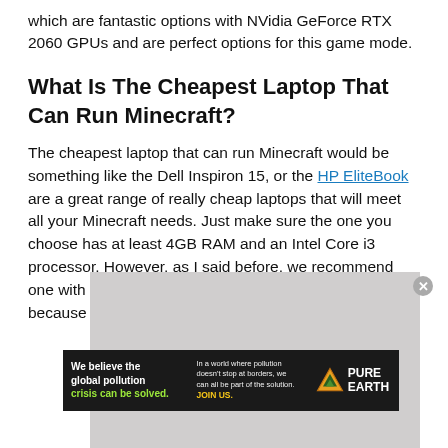which are fantastic options with NVidia GeForce RTX 2060 GPUs and are perfect options for this game mode.
What Is The Cheapest Laptop That Can Run Minecraft?
The cheapest laptop that can run Minecraft would be something like the Dell Inspiron 15, or the HP EliteBook are a great range of really cheap laptops that will meet all your Minecraft needs. Just make sure the one you choose has at least 4GB RAM and an Intel Core i3 processor. However, as I said before, we recommend one with at least an Intel Core i5 and 8GB RAM simply because it will allow you to do so much
[Figure (other): Video overlay with text: No compatible source was found for this media.]
[Figure (other): Advertisement banner for Pure Earth: We believe the global pollution crisis can be solved. In a world where pollution doesn't stop at borders, we can all be part of the solution. JOIN US.]
[Figure (photo): Partial photo of a person using a laptop, partially obscured by overlay.]